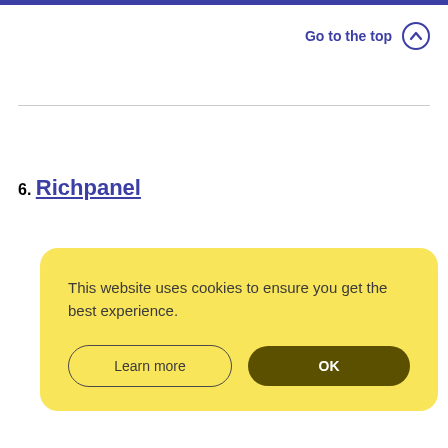Go to the top
6. Richpanel
[Figure (screenshot): Cookie consent banner with yellow background showing 'This website uses cookies to ensure you get the best experience.' with 'Learn more' and 'OK' buttons]
This website uses cookies to ensure you get the best experience.